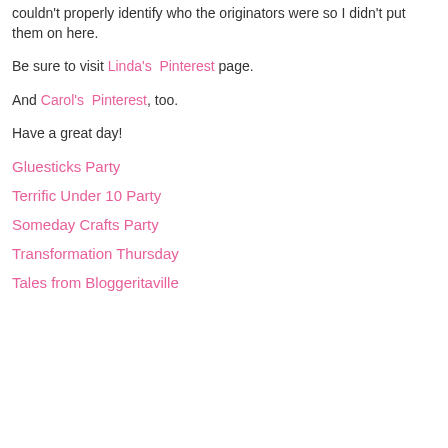couldn't properly identify who the originators were so I didn't put them on here.
Be sure to visit Linda's Pinterest page.
And Carol's Pinterest, too.
Have a great day!
Gluesticks Party
Terrific Under 10 Party
Someday Crafts Party
Transformation Thursday
Tales from Bloggeritaville